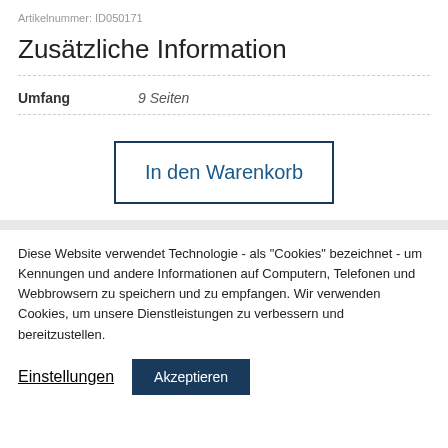Artikelnummer: ID050171
Zusätzliche Information
| Umfang | 9 Seiten |
| --- | --- |
In den Warenkorb
Diese Website verwendet Technologie - als "Cookies" bezeichnet - um Kennungen und andere Informationen auf Computern, Telefonen und Webbrowsern zu speichern und zu empfangen. Wir verwenden Cookies, um unsere Dienstleistungen zu verbessern und bereitzustellen.
Einstellungen
Akzeptieren